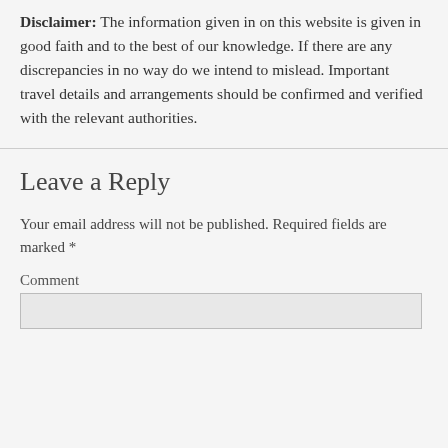Disclaimer: The information given in on this website is given in good faith and to the best of our knowledge. If there are any discrepancies in no way do we intend to mislead. Important travel details and arrangements should be confirmed and verified with the relevant authorities.
Leave a Reply
Your email address will not be published. Required fields are marked *
Comment